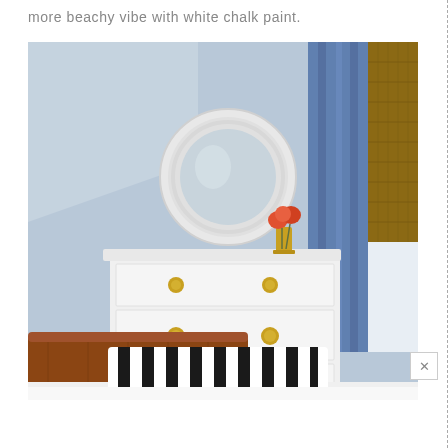more beachy vibe with white chalk paint.
[Figure (photo): Interior bedroom photo showing a white painted dresser with gold drawer knobs, a round white-framed mirror above it, a small vase with orange flowers, pale blue walls, blue curtains on the right, a wooden bed headboard in the foreground with black and white striped pillow, and white bedding.]